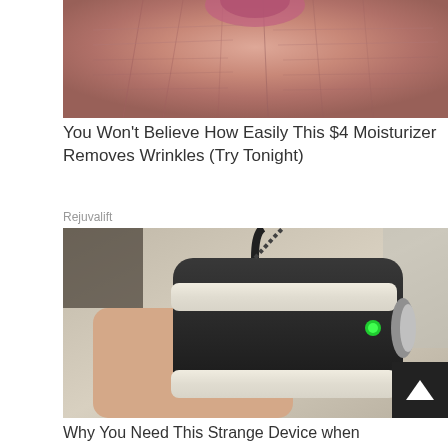[Figure (photo): Close-up photo of aging skin with wrinkles around the mouth/lips area, showing severely wrinkled and reddish skin texture]
You Won't Believe How Easily This $4 Moisturizer Removes Wrinkles (Try Tonight)
Rejuvalift
[Figure (photo): Photo of a hand holding a black cylindrical device with white foam/rubber padding around it, a green LED indicator visible on the side, with cables attached at top]
Why You Need This Strange Device when